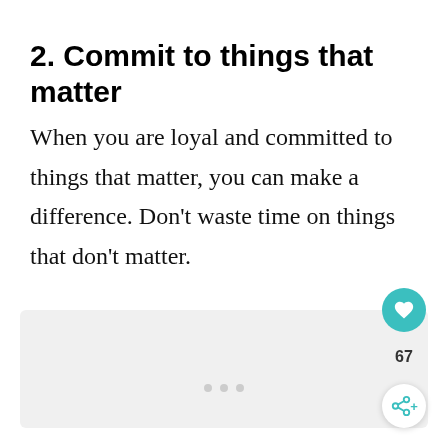2. Commit to things that matter
When you are loyal and committed to things that matter, you can make a difference. Don’t waste time on things that don’t matter.
[Figure (other): Light gray rectangular image placeholder area]
67